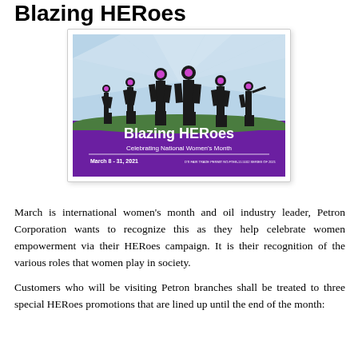Blazing HERoes
[Figure (illustration): Blazing HERoes promotional image for Petron Corporation's National Women's Month campaign, March 8-31, 2021. Shows silhouettes of women in various roles against a purple and sky-blue background. Text: 'Blazing HERoes - Celebrating National Women's Month - March 8 - 31, 2021']
March is international women's month and oil industry leader, Petron Corporation wants to recognize this as they help celebrate women empowerment via their HERoes campaign. It is their recognition of the various roles that women play in society.
Customers who will be visiting Petron branches shall be treated to three special HERoes promotions that are lined up until the end of the month: